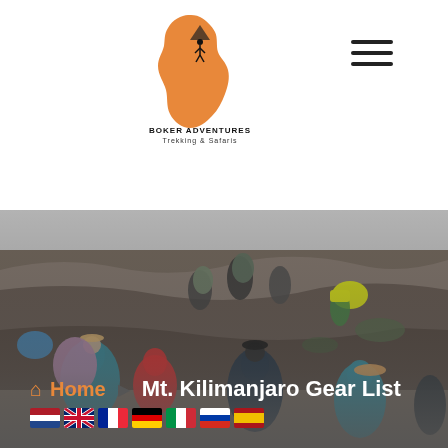[Figure (logo): Boker Adventures Trekking & Safaris logo — orange Africa continent shape with a hiker and mountain peak silhouette, text 'BOKER ADVENTURES Trekking & Safaris']
[Figure (photo): Group of hikers and porters with large backpacks climbing rocky mountain trail on Mt. Kilimanjaro, some with brightly colored gear (yellow, blue, red), rocky terrain with sparse vegetation, overcast sky]
Home  ▶  Mt. Kilimanjaro Gear List
[Figure (illustration): Six country flag icons: Netherlands (red/white/blue), United Kingdom (Union Jack), France (blue/white/red), Germany (black/red/yellow), Italy (green/white/red), Russia (white/blue/red), Spain (red/yellow/red)]